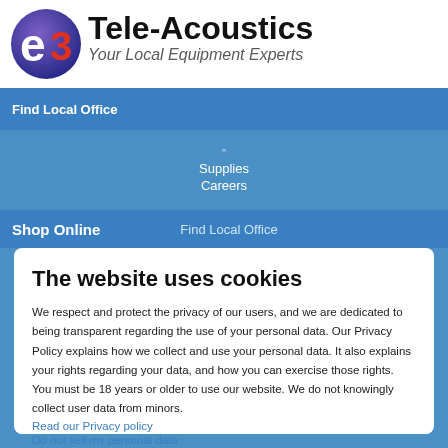[Figure (logo): e3 Tele-Acoustics logo with purple/blue circular icon containing stylized 'e3' text]
Tele-Acoustics
Your Local Equipment Experts
Find Local Office
Supplies
Careers
Shop Online    Find Local Office
The website uses cookies
We respect and protect the privacy of our users, and we are dedicated to being transparent regarding the use of your personal data. Our Privacy Policy explains how we collect and use your personal data. It also explains your rights regarding your data, and how you can exercise those rights. You must be 18 years or older to use our website. We do not knowingly collect user data from minors.
Read our Privacy policy
Do not sell my personal data
I accept
Powered by:
Cookie Information